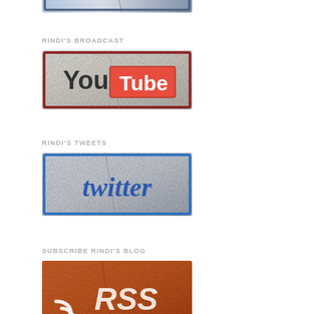[Figure (illustration): Top-cropped grunge-style social media badge (partially visible at top of page)]
RINDI'S BROADCAST
[Figure (logo): Grunge-style YouTube logo badge with distressed texture, white and red colors]
RINDI'S TWEETS
[Figure (logo): Grunge-style Twitter logo badge with distressed texture, blue text on silvery background]
SUBSCRIBE RINDI'S BLOG
[Figure (logo): Grunge-style RSS/blog badge with distressed texture, orange background with white RSS icon and RSS text]